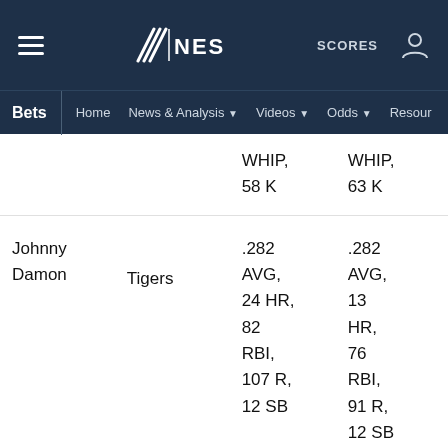NESN — Bets | Home | News & Analysis | Videos | Odds | Resources | SCORES
WHIP, 58 K
WHIP, 63 K
| Player | Team | Stats (col1) | Stats (col2) |
| --- | --- | --- | --- |
| Johnny Damon | Tigers | .282 AVG, 24 HR, 82 RBI, 107 R, 12 SB | .282 AVG, 13 HR, 76 RBI, 91 R, 12 SB |
.311